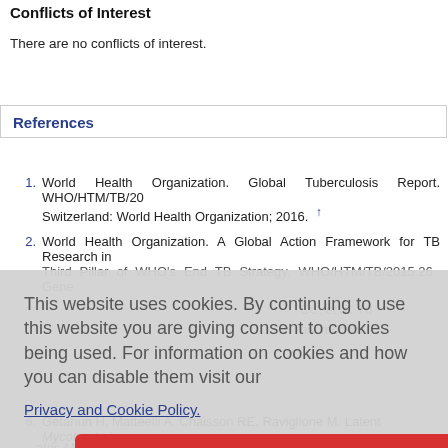Conflicts of Interest
There are no conflicts of interest.
References
1. World Health Organization. Global Tuberculosis Report. WHO/HTM/TB/20... Switzerland: World Health Organization; 2016. ↑
2. World Health Organization. A Global Action Framework for TB Research in... Third Pillar of WHO's End TB Strategy. WHO/HTM/TB/2015.26. Genev...
This website uses cookies. By continuing to use this website you are giving consent to cookies being used. For information on cookies and how you can disable them visit our Privacy and Cookie Policy. AGREE & PROCEED
6. Getahun H, Matteelli A, Chaisson RE, Raviglione M. Latent Mycobacteriu...